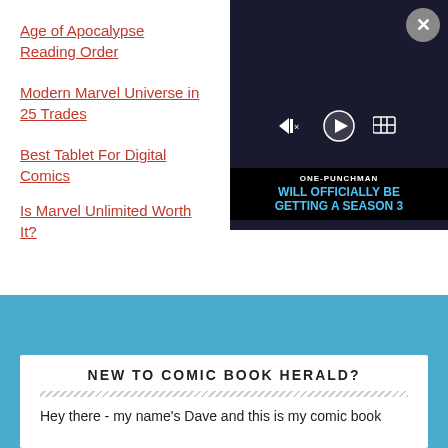Age of Apocalypse Reading Order
Modern Marvel Universe in 25 Trades
Best Tablet For Digital Comics
Is Marvel Unlimited Worth It?
[Figure (screenshot): Video player overlay showing One-Punch Man Season 3 announcement with controls and close button]
NEW TO COMIC BOOK HERALD?
Hey there - my name's Dave and this is my comic book